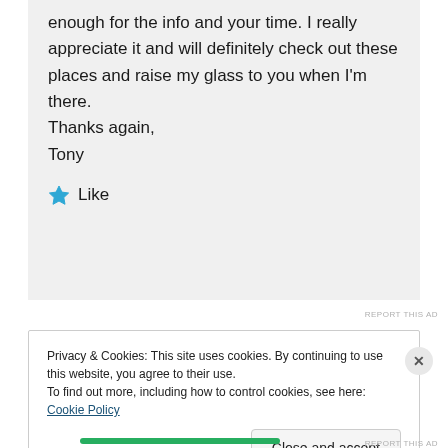enough for the info and your time. I really appreciate it and will definitely check out these places and raise my glass to you when I'm there.
Thanks again,
Tony
★ Like
REPORT THIS AD
Privacy & Cookies: This site uses cookies. By continuing to use this website, you agree to their use.
To find out more, including how to control cookies, see here: Cookie Policy
Close and accept
REPORT THIS AD